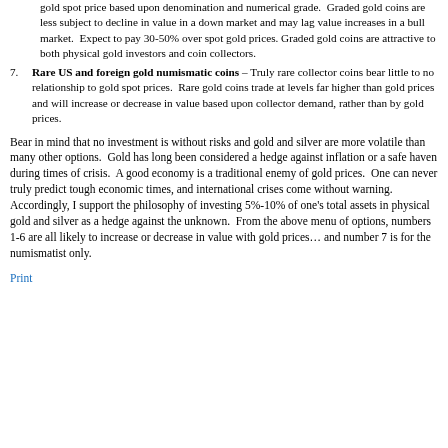gold spot price based upon denomination and numerical grade.   Graded gold coins are less subject to decline in value in a down market and may lag value increases in a bull market.  Expect to pay 30-50% over spot gold prices. Graded gold coins are attractive to both physical gold investors and coin collectors.
7. Rare US and foreign gold numismatic coins – Truly rare collector coins bear little to no relationship to gold spot prices.   Rare gold coins trade at levels far higher than gold prices and will increase or decrease in value based upon collector demand, rather than by gold prices.
Bear in mind that no investment is without risks and gold and silver are more volatile than many other options.   Gold has long been considered a hedge against inflation or a safe haven during times of crisis.   A good economy is a traditional enemy of gold prices.   One can never truly predict tough economic times, and international crises come without warning.  Accordingly, I support the philosophy of investing 5%-10% of one's total assets in physical gold and silver as a hedge against the unknown.   From the above menu of options, numbers 1-6 are all likely to increase or decrease in value with gold prices… and number 7 is for the numismatist only.
Print